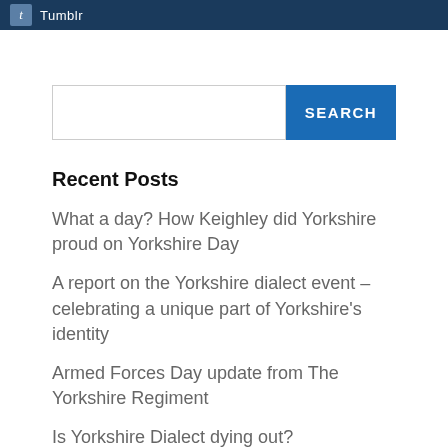Tumblr
Recent Posts
What a day? How Keighley did Yorkshire proud on Yorkshire Day
A report on the Yorkshire dialect event – celebrating a unique part of Yorkshire's identity
Armed Forces Day update from The Yorkshire Regiment
Is Yorkshire Dialect dying out?
Leeds-based Run For All are proud to join The